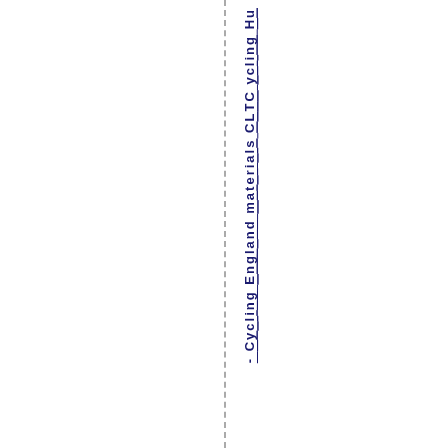- Cycling England and materials CLTC ycling Hu